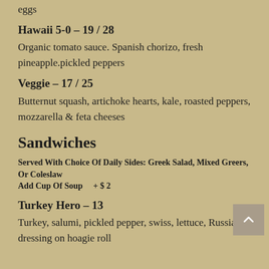eggs
Hawaii 5-0 – 19 / 28
Organic tomato sauce. Spanish chorizo, fresh pineapple.pickled peppers
Veggie – 17 / 25
Butternut squash, artichoke hearts, kale, roasted peppers, mozzarella & feta cheeses
Sandwiches
Served With Choice Of Daily Sides: Greek Salad, Mixed Greers, Or Coleslaw
Add Cup Of Soup    + $ 2
Turkey Hero – 13
Turkey, salumi, pickled pepper, swiss, lettuce, Russian dressing on hoagie roll